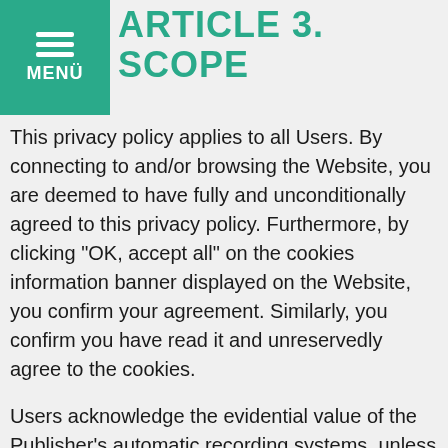MENÜ
ARTICLE 3. SCOPE
This privacy policy applies to all Users. By connecting to and/or browsing the Website, you are deemed to have fully and unconditionally agreed to this privacy policy. Furthermore, by clicking "OK, accept all" on the cookies information banner displayed on the Website, you confirm your agreement. Similarly, you confirm you have read it and unreservedly agree to the cookies.
Users acknowledge the evidential value of the Publisher's automatic recording systems, unless proof to the contrary can be produced.
By agreeing to this privacy policy, it is presumed that Users have the full legal powers required to do so or that they are at least sixteen (16) years old or, failing this, that they have the authorisation of their legal guardian if they are a Legally Incapacitated Individual, the authorisation of their legal representative if they are under sixteen (16) years